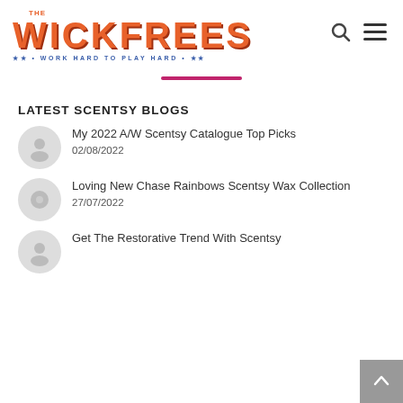[Figure (logo): The Wickfrees logo with orange bubble text and blue tagline 'WORK HARD TO PLAY HARD' with stars]
LATEST SCENTSY BLOGS
[Figure (photo): Circular thumbnail image for blog post 1]
My 2022 A/W Scentsy Catalogue Top Picks
02/08/2022
[Figure (photo): Circular thumbnail image for blog post 2]
Loving New Chase Rainbows Scentsy Wax Collection
27/07/2022
[Figure (photo): Circular thumbnail image for blog post 3]
Get The Restorative Trend With Scentsy